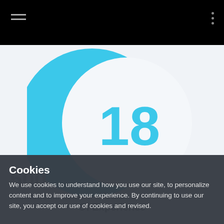Navigation bar with hamburger menu and options dots
[Figure (illustration): Large circular graphic with sky-blue crescent/arc shape on the left and a white circle on the right. Inside the white circle is the number '18' in bold sky-blue text.]
Years
Of Experience
500
Promotional Items
Cookies
We use cookies to understand how you use our site, to personalize content and to improve your experience. By continuing to use our site, you accept our use of cookies and revised.